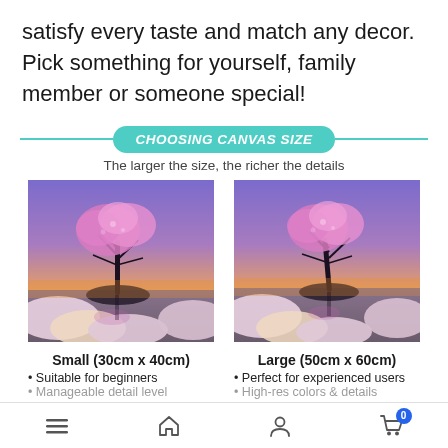satisfy every taste and match any decor. Pick something for yourself, family member or someone special!
CHOOSING CANVAS SIZE
The larger the size, the richer the details
[Figure (photo): Diamond painting canvas showing a pink cherry blossom tree on a rocky island with dramatic cloudy sky - small size example]
Small (30cm x 40cm)
Suitable for beginners
[Figure (photo): Diamond painting canvas showing a pink cherry blossom tree on a rocky island with dramatic cloudy sky - large size example]
Large (50cm x 60cm)
Perfect for experienced users
Navigation bar with menu, home, profile and cart icons